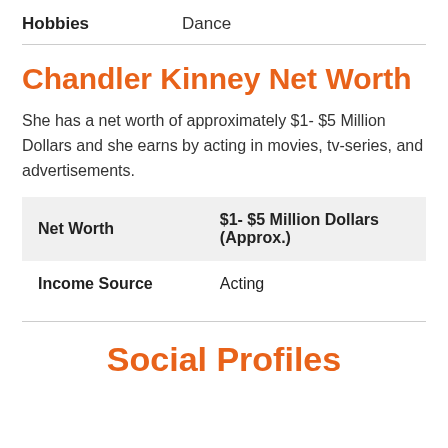| Hobbies | Dance |
| --- | --- |
Chandler Kinney Net Worth
She has a net worth of approximately $1- $5 Million Dollars and she earns by acting in movies, tv-series, and advertisements.
| Net Worth | $1- $5 Million Dollars (Approx.) |
| --- | --- |
| Income Source | Acting |
Social Profiles